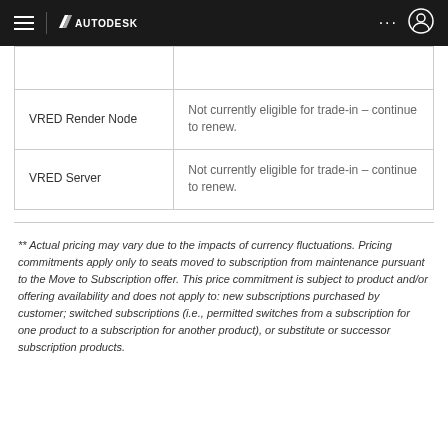Autodesk navigation bar
| Product | Status |
| --- | --- |
|  |  |
| VRED Render Node | Not currently eligible for trade-in – continue to renew. |
| VRED Server | Not currently eligible for trade-in – continue to renew. |
** Actual pricing may vary due to the impacts of currency fluctuations. Pricing commitments apply only to seats moved to subscription from maintenance pursuant to the Move to Subscription offer. This price commitment is subject to product and/or offering availability and does not apply to: new subscriptions purchased by customer; switched subscriptions (i.e., permitted switches from a subscription for one product to a subscription for another product), or substitute or successor subscription products.